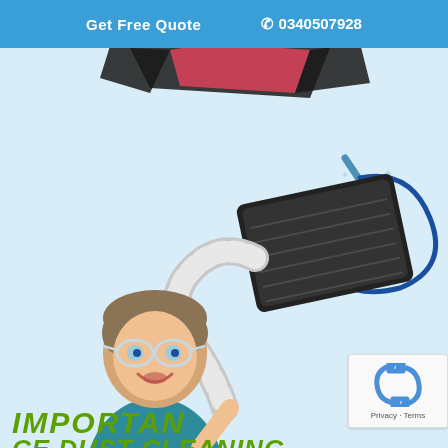Get Free Quote  📞 0340507928
[Figure (illustration): Website screenshot showing a cleaning service page. Top area has partial view of a red/dark folded cloth or vacuum accessory. Middle-right area has a cleaning service logo: a stylized sphere with a broom, sparkle stars, and circular swoosh in blue/teal colors. Lower-left area shows a cartoon illustration of a male duct cleaning technician with glasses and teal uniform, holding a large flexible duct hose connected to a dark vent/grille. Bottom text partially visible reads IMPORTAN[CE] OF DUCT CLEANING.]
IMPORTAN
CE DUST CLEANING